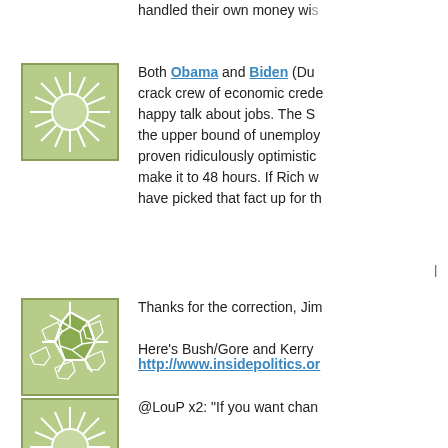handled their own money wi...
[Figure (illustration): Green avatar icon with starburst/sun pattern]
Both Obama and Biden (Du... crack crew of economic crede... happy talk about jobs. The S... the upper bound of unemploy... proven ridiculously optimistic... make it to 48 hours. If Rich w... have picked that fact up for th...
[Figure (illustration): Green avatar icon with soccer ball/polygon pattern]
Thanks for the correction, Jim...

Here's Bush/Gore and Kerry...
http://www.insidepolitics.or...
[Figure (illustration): Green avatar icon with starburst/sun pattern]
@LouP x2: "If you want chan...